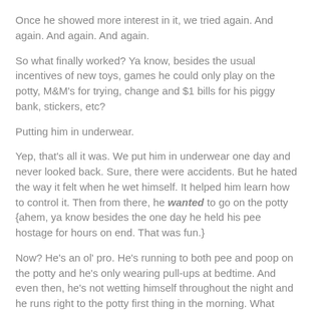Once he showed more interest in it, we tried again.  And again.  And again. And again.
So what finally worked?  Ya know, besides the usual incentives of new toys, games he could only play on the potty, M&M's for trying, change and $1 bills for his piggy bank, stickers, etc?
Putting him in underwear.
Yep, that's all it was.  We put him in underwear one day and never looked back.  Sure, there were accidents.  But he hated the way it felt when he wet himself.  It helped him learn how to control it. Then from there, he wanted to go on the potty {ahem, ya know besides the one day he held his pee hostage for hours on end.  That was fun.}
Now? He's an ol' pro.  He's running to both pee and poop on the potty and he's only wearing pull-ups at bedtime.  And even then, he's not wetting himself throughout the night and he runs right to the potty first thing in the morning. What happened to my nightmare-to-potty-train boy!?!